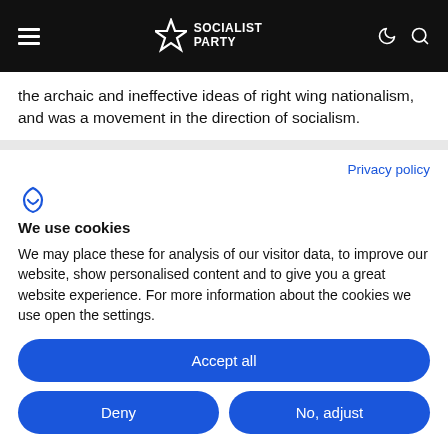SOCIALIST PARTY
the archaic and ineffective ideas of right wing nationalism, and was a movement in the direction of socialism.
Privacy policy
We use cookies
We may place these for analysis of our visitor data, to improve our website, show personalised content and to give you a great experience. For more information about the cookies we use open the settings.
Accept all
Deny
No, adjust